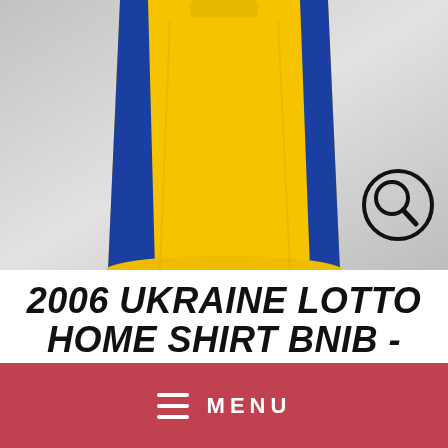[Figure (photo): Yellow and blue Ukraine Lotto football shirt hanging against a grey background, with a zoom/magnify icon in the bottom right corner of the image.]
2006 UKRAINE LOTTO HOME SHIRT BNIB - MARKETPLACE
$150.00
Shipping calculated at checkout.
Size
MENU